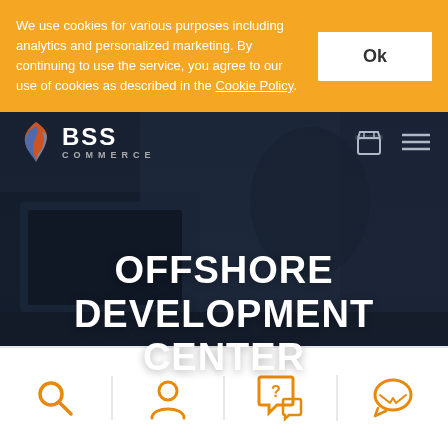We use cookies for various purposes including analytics and personalized marketing. By continuing to use the service, you agree to our use of cookies as described in the Cookie Policy.
[Figure (screenshot): BSS Commerce website hero section with dark overlay showing a person working on a laptop]
OFFSHORE DEVELOPMENT CENTER
[Figure (infographic): Bottom navigation bar with four orange icons: search/magnifying glass, user/person, help/speech bubble with question mark, and messenger/chat bubble]